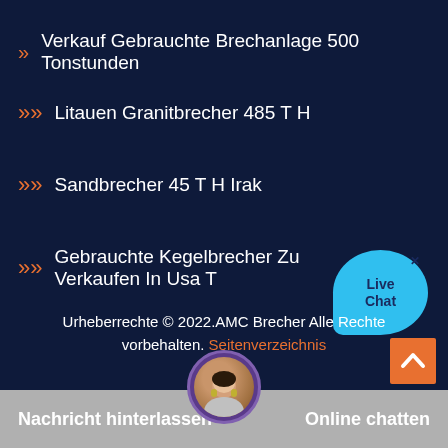Verkauf Gebrauchte Brechanlage 500 Tonstunden
Litauen Granitbrecher 485 T H
Sandbrecher 45 T H Irak
Gebrauchte Kegelbrecher Zu Verkaufen In Usa T
[Figure (illustration): Live Chat bubble icon in cyan/blue color with 'Live Chat' text and an X close button]
Urheberrechte © 2022.AMC Brecher Alle Rechte vorbehalten. Seitenverzeichnis
[Figure (illustration): Orange scroll-to-top button with upward chevron arrow]
[Figure (illustration): Customer service agent avatar circle at bottom center]
Nachricht hinterlassen
Online chatten